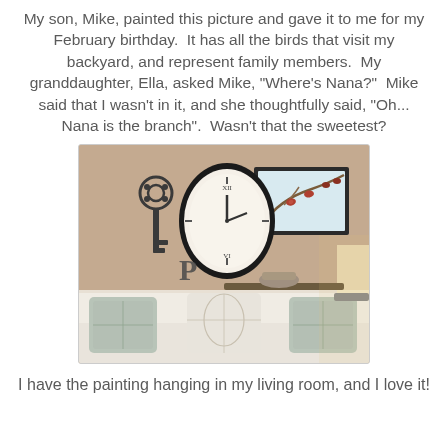My son, Mike, painted this picture and gave it to me for my February birthday.  It has all the birds that visit my backyard, and represent family members.  My granddaughter, Ella, asked Mike, "Where's Nana?"  Mike said that I wasn't in it, and she thoughtfully said, "Oh... Nana is the branch".  Wasn't that the sweetest?
[Figure (photo): A living room wall decorated with a decorative metal key, an ornate oval wall clock, a framed painting of birds on a branch, and a metal letter P. Below is a white sofa with patterned pillows and a lamp visible on the right.]
I have the painting hanging in my living room, and I love it!